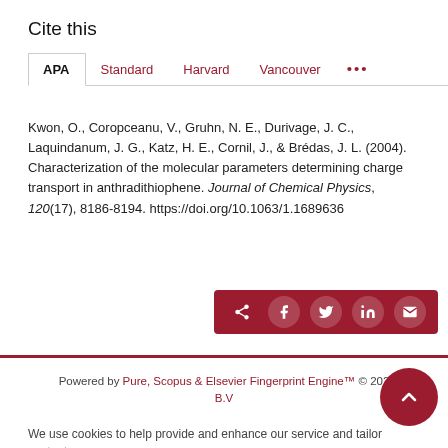Cite this
APA | Standard | Harvard | Vancouver | ...
Kwon, O., Coropceanu, V., Gruhn, N. E., Durivage, J. C., Laquindanum, J. G., Katz, H. E., Cornil, J., & Brédas, J. L. (2004). Characterization of the molecular parameters determining charge transport in anthradithiophene. Journal of Chemical Physics, 120(17), 8186-8194. https://doi.org/10.1063/1.1689636
[Figure (other): Share buttons bar with icons for share, Facebook, Twitter, LinkedIn, email on dark red background]
Powered by Pure, Scopus & Elsevier Fingerprint Engine™ © 202 B.V
We use cookies to help provide and enhance our service and tailor content.